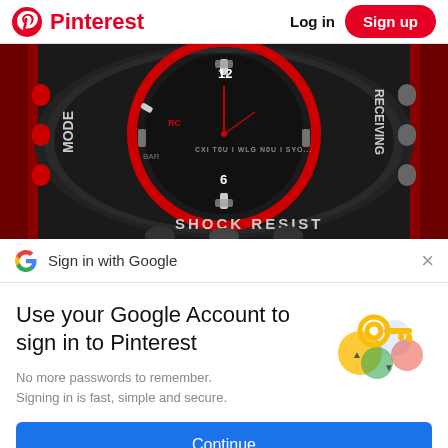Pinterest  Log in  Sign up
[Figure (photo): Close-up photo of a Casio G-Shock watch face with black and red design, showing 'MODE', 'RECEIVING', 'SHOCK RESIST' text on the watch]
Sign in with Google
Use your Google Account to sign in to Pinterest
No more passwords to remember. Signing in is fast, simple and secure.
[Figure (illustration): Google sign-in illustration with a key and colorful circles (yellow, blue, pink, green)]
Continue